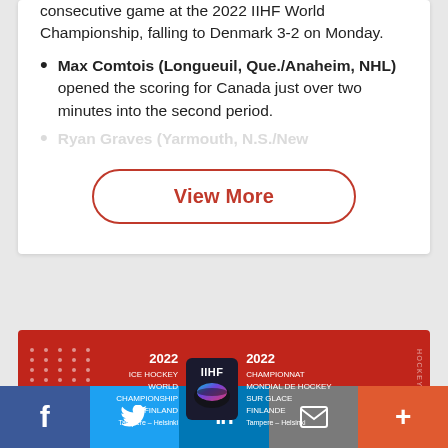consecutive game at the 2022 IIHF World Championship, falling to Denmark 3-2 on Monday.
Max Comtois (Longueuil, Que./Anaheim, NHL) opened the scoring for Canada just over two minutes into the second period.
Ryan Graves (Yarmouth, N.S./New...
[Figure (other): View More button with red rounded-rectangle border]
[Figure (other): 2022 IIHF Ice Hockey World Championship Finland banner in red with IIHF logo, showing Tampere - Helsinki locations in English and French]
[Figure (other): Social sharing bar with Facebook, Twitter, LinkedIn, Email, and More buttons]